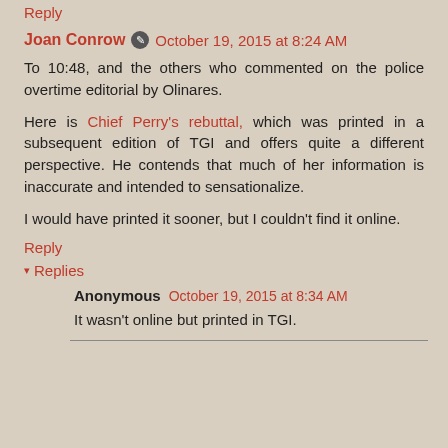Reply
Joan Conrow  October 19, 2015 at 8:24 AM
To 10:48, and the others who commented on the police overtime editorial by Olinares.
Here is Chief Perry's rebuttal, which was printed in a subsequent edition of TGI and offers quite a different perspective. He contends that much of her information is inaccurate and intended to sensationalize.
I would have printed it sooner, but I couldn't find it online.
Reply
Replies
Anonymous  October 19, 2015 at 8:34 AM
It wasn't online but printed in TGI.